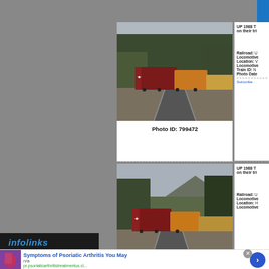[Figure (photo): Train photo 1 - locomotive on tracks with trees, Photo ID: 799472]
Photo ID: 799472
UP 1988 T on their tri Railroad: U Locomotive Location: V Locomotive Train ID: N Photo Date Subscribe •
[Figure (photo): Train photo 2 - locomotive on tracks with trees and mountains]
Railroad: U Locomotive Location: H Locomotive
[Figure (screenshot): infolinks advertisement overlay with Symptoms of Psoriatic Arthritis ad]
infolinks
Symptoms of Psoriatic Arthritis You May
n/a
pr.psoriaticarthritistreatmentus.cl...